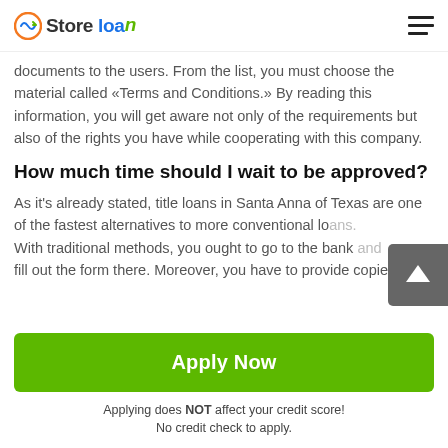Store loan
documents to the users. From the list, you must choose the material called «Terms and Conditions.» By reading this information, you will get aware not only of the requirements but also of the rights you have while cooperating with this company.
How much time should I wait to be approved?
As it's already stated, title loans in Santa Anna of Texas are one of the fastest alternatives to more conventional lo... With traditional methods, you ought to go to the bank... fill out the form there. Moreover, you have to provide copies
Apply Now
Applying does NOT affect your credit score!
No credit check to apply.